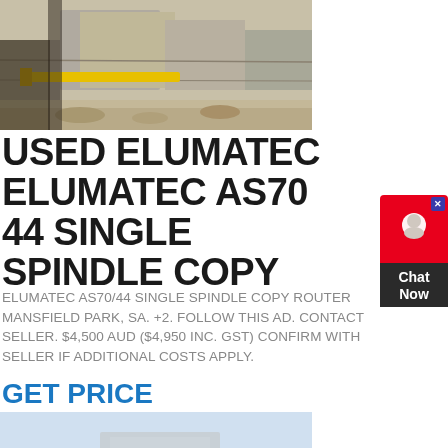[Figure (photo): Industrial machinery or construction site with concrete structures and yellow equipment]
USED ELUMATEC ELUMATEC AS70 44 SINGLE SPINDLE COPY
ELUMATEC AS70/44 SINGLE SPINDLE COPY ROUTER MANSFIELD PARK, SA. +2. FOLLOW THIS AD. CONTACT SELLER. $4,500 AUD ($4,950 INC. GST) CONFIRM WITH SELLER IF ADDITIONAL COSTS APPLY.
GET PRICE
[Figure (photo): Industrial mining or crushing equipment with machinery and structures at an outdoor site]